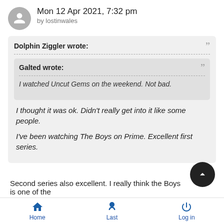Mon 12 Apr 2021, 7:32 pm by lostinwales
Dolphin Ziggler wrote:
Galted wrote:
I watched Uncut Gems on the weekend. Not bad.
I thought it was ok. Didn't really get into it like some people.
I've been watching The Boys on Prime. Excellent first series.
Second series also excellent. I really think the Boys is one of the
Home   Last   Log in